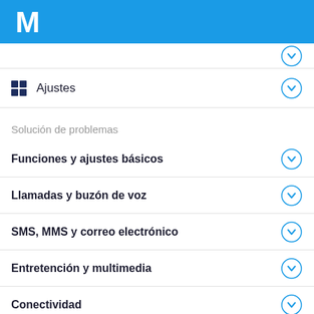[Figure (logo): Movistar logo (white M on blue background) in header bar]
Ajustes
Solución de problemas
Funciones y ajustes básicos
Llamadas y buzón de voz
SMS, MMS y correo electrónico
Entretención y multimedia
Conectividad